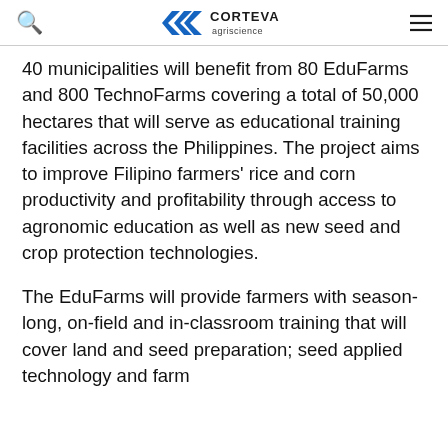Corteva Agriscience logo with search and menu icons
40 municipalities will benefit from 80 EduFarms and 800 TechnoFarms covering a total of 50,000 hectares that will serve as educational training facilities across the Philippines. The project aims to improve Filipino farmers’ rice and corn productivity and profitability through access to agronomic education as well as new seed and crop protection technologies.
The EduFarms will provide farmers with season-long, on-field and in-classroom training that will cover land and seed preparation; seed applied technology and farm mechanization; nutrition, herbicides and pest management.